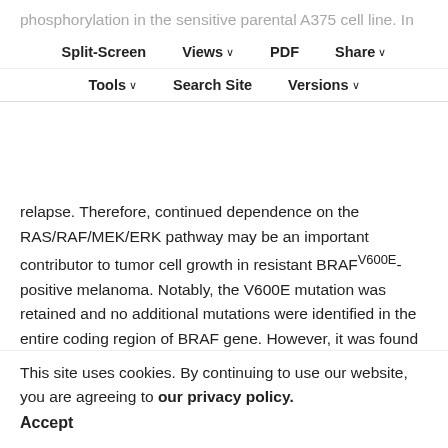phosphorylation in the sensitive parental A375 cell line. In contrast, p-ERK levels were elevated in resistant cell lines and insensitive to vemurafenib inhibition, consistent with early clinical observations of p-ERK reactivation at disease
Split-Screen | Views | PDF | Share | Tools | Search Site | Versions
relapse. Therefore, continued dependence on the RAS/RAF/MEK/ERK pathway may be an important contributor to tumor cell growth in resistant BRAFV600E-positive melanoma. Notably, the V600E mutation was retained and no additional mutations were identified in the entire coding region of BRAF gene. However, it was found that BRAF protein levels were upregulated in the acquired resistant cells. Similar observations with BCR-ABL-driven tumors were noted in imatinib-resistant cell lines (26, 27).
This site uses cookies. By continuing to use our website, you are agreeing to our privacy policy. Accept